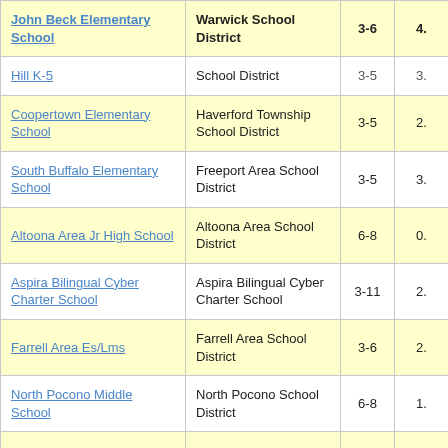| School | District | Grades | Score |
| --- | --- | --- | --- |
| John Beck Elementary School | Warwick School District | 3-6 | 4. |
| Hill K-5 | School District | 3-5 | 3. |
| Coopertown Elementary School | Haverford Township School District | 3-5 | 2. |
| South Buffalo Elementary School | Freeport Area School District | 3-5 | 3. |
| Altoona Area Jr High School | Altoona Area School District | 6-8 | 0. |
| Aspira Bilingual Cyber Charter School | Aspira Bilingual Cyber Charter School | 3-11 | 2. |
| Farrell Area Es/Lms | Farrell Area School District | 3-6 | 2. |
| North Pocono Middle School | North Pocono School District | 6-8 | 1. |